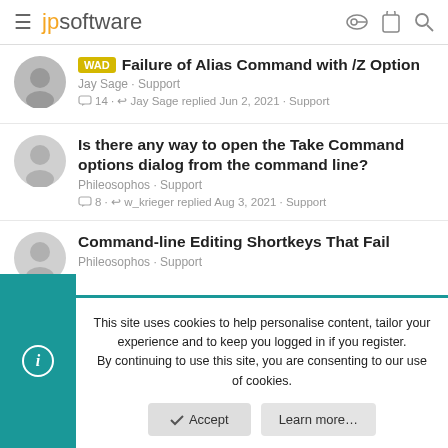jpsoftware
WAD Failure of Alias Command with /Z Option
Jay Sage · Support
14 · Jay Sage replied Jun 2, 2021 · Support
Is there any way to open the Take Command options dialog from the command line?
Phileosophos · Support
8 · w_krieger replied Aug 3, 2021 · Support
Command-line Editing Shortkeys That Fail
Phileosophos · Support
This site uses cookies to help personalise content, tailor your experience and to keep you logged in if you register.
By continuing to use this site, you are consenting to our use of cookies.